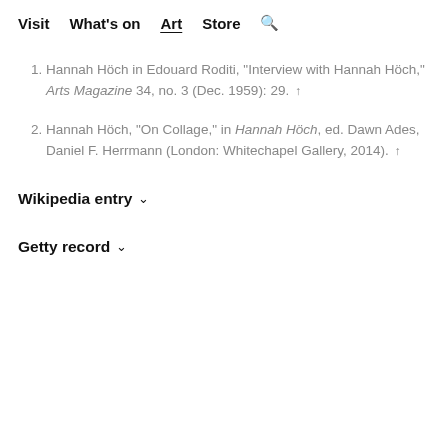Visit  What's on  Art  Store  🔍
Hannah Höch in Edouard Roditi, "Interview with Hannah Höch," Arts Magazine 34, no. 3 (Dec. 1959): 29.  ↑
Hannah Höch, "On Collage," in Hannah Höch, ed. Dawn Ades, Daniel F. Herrmann (London: Whitechapel Gallery, 2014).  ↑
Wikipedia entry ∨
Getty record ∨